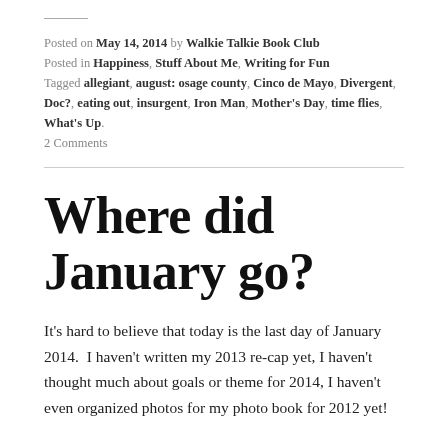Posted on May 14, 2014 by Walkie Talkie Book Club
Posted in Happiness, Stuff About Me, Writing for Fun
Tagged allegiant, august: osage county, Cinco de Mayo, Divergent, Doc?, eating out, insurgent, Iron Man, Mother's Day, time flies, What's Up.
2 Comments
Where did January go?
It's hard to believe that today is the last day of January 2014.  I haven't written my 2013 re-cap yet, I haven't thought much about goals or theme for 2014, I haven't even organized photos for my photo book for 2012 yet!